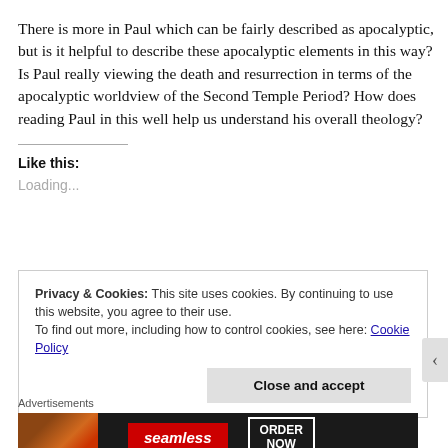There is more in Paul which can be fairly described as apocalyptic, but is it helpful to describe these apocalyptic elements in this way? Is Paul really viewing the death and resurrection in terms of the apocalyptic worldview of the Second Temple Period? How does reading Paul in this well help us understand his overall theology?
Like this:
Loading...
Privacy & Cookies: This site uses cookies. By continuing to use this website, you agree to their use.
To find out more, including how to control cookies, see here: Cookie Policy
Close and accept
Advertisements
[Figure (photo): Seamless food ordering advertisement banner showing pizza image on left, Seamless logo in red, and ORDER NOW button on right against dark background]